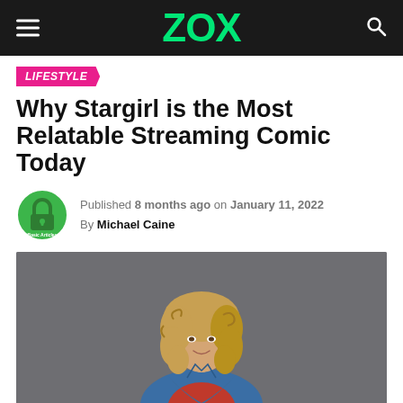ZOX
LIFESTYLE
Why Stargirl is the Most Relatable Streaming Comic Today
Published 8 months ago on January 11, 2022
By Michael Caine
[Figure (photo): Young woman with curly blonde hair wearing a denim jacket over a red top, posed against a gray background — promotional photo for Stargirl.]